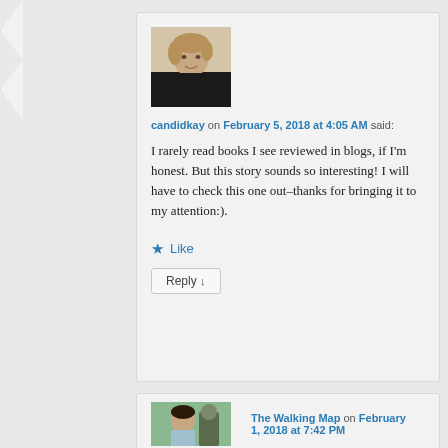[Figure (photo): Profile photo of a woman with short blonde/brown hair wearing a black turtleneck, smiling]
candidkay on February 5, 2018 at 4:05 AM said:
I rarely read books I see reviewed in blogs, if I'm honest. But this story sounds so interesting! I will have to check this one out-thanks for bringing it to my attention:).
★ Like
Reply ↓
[Figure (photo): Profile photo of a man looking to the side outdoors]
The Walking Map on February 1, 2018 at 7:42 PM